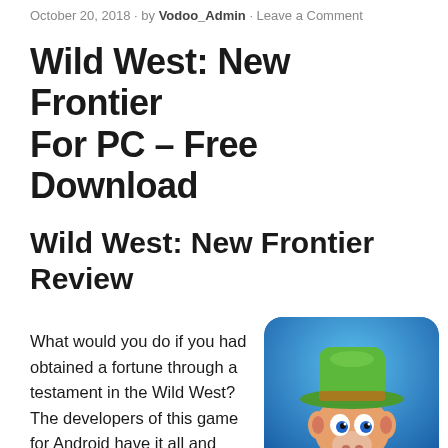October 20, 2018  -  by Vodoo_Admin  -  Leave a Comment
Wild West: New Frontier For PC – Free Download
Wild West: New Frontier Review
What would you do if you had obtained a fortune through a testament in the Wild West? The developers of this game for Android have it all and built the best…
[Figure (illustration): Cartoon animal character wearing a green cowboy hat on a blue background — game icon for Wild West: New Frontier]